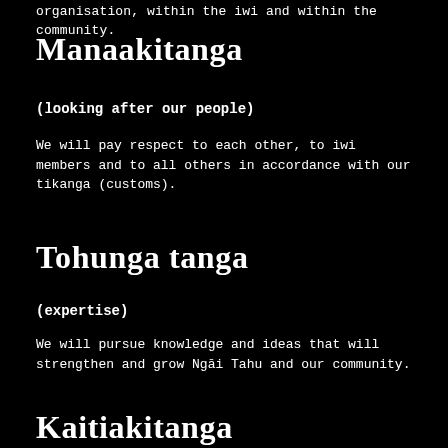organisation, within the iwi and within the community.
Manaakitanga
(looking after our people)
We will pay respect to each other, to iwi members and to all others in accordance with our tikanga (customs).
Tohunga tanga
(expertise)
We will pursue knowledge and ideas that will strengthen and grow Ngāi Tahu and our community.
Kaitiakitanga